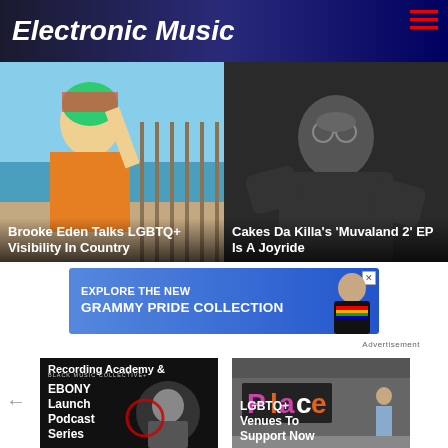Electronic Music
[Figure (photo): Brooke Eden: woman with colorful hair wrap and orange top at beach]
Brooke Eden Talks LGBTQ+ Visibility In Country
[Figure (photo): Cakes Da Killa: person in black looking upward, black and white photo]
Cakes Da Killa's 'Muvaland 2' EP Is A Joyride
[Figure (infographic): Advertisement banner: EXPLORE THE NEW GRAMMY PRIDE COLLECTION with person in rainbow t-shirt]
Advertisement
[Figure (photo): Recording Academy & EBONY Launch Podcast Series - Black Music Collective logo with woman photo]
[Figure (photo): LGBTQ+ Venues To Support Now - exterior building signage photo]